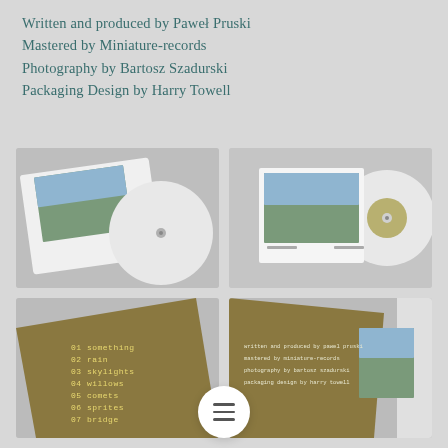Written and produced by Paweł Pruski
Mastered by Miniature-records
Photography by Bartosz Szadurski
Packaging Design by Harry Towell
[Figure (photo): White vinyl record partially pulled out of white sleeve showing a photograph of an outdoor scene with a swing structure by a lake, shot from above/angled]
[Figure (photo): White vinyl record next to a square photograph sleeve showing the same outdoor scene with a swing by a lake]
[Figure (photo): Gold/olive coloured album insert showing tracklist in white monospace text: 01 something, 02 rain, 03 skylights, 04 willows, 05 comets, 06 sprites, 07 bridge]
[Figure (photo): Gold/olive coloured album back insert showing credits text, alongside a partially visible photo and white vinyl edge]